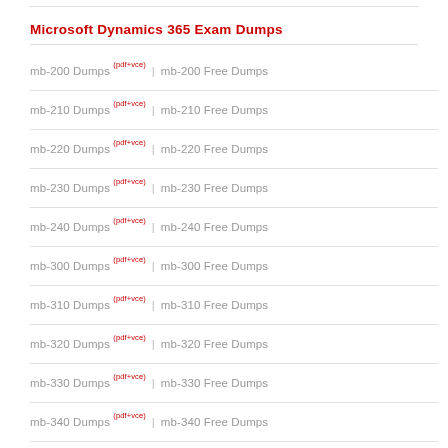Microsoft Dynamics 365 Exam Dumps
mb-200 Dumps (pdf+vce) | mb-200 Free Dumps
mb-210 Dumps (pdf+vce) | mb-210 Free Dumps
mb-220 Dumps (pdf+vce) | mb-220 Free Dumps
mb-230 Dumps (pdf+vce) | mb-230 Free Dumps
mb-240 Dumps (pdf+vce) | mb-240 Free Dumps
mb-300 Dumps (pdf+vce) | mb-300 Free Dumps
mb-310 Dumps (pdf+vce) | mb-310 Free Dumps
mb-320 Dumps (pdf+vce) | mb-320 Free Dumps
mb-330 Dumps (pdf+vce) | mb-330 Free Dumps
mb-340 Dumps (pdf+vce) | mb-340 Free Dumps
mb-400 Dumps (pdf+vce) | mb-400 Free Dumps
mb-500 Dumps (pdf+vce) | mb-500 Free Dumps